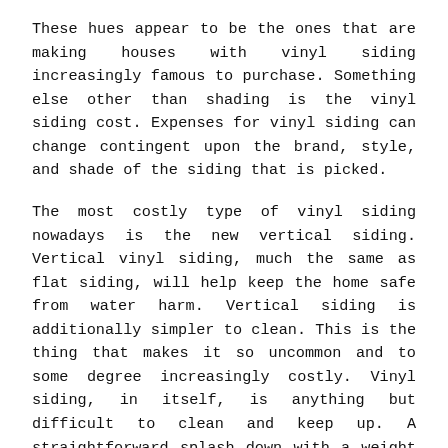These hues appear to be the ones that are making houses with vinyl siding increasingly famous to purchase. Something else other than shading is the vinyl siding cost. Expenses for vinyl siding can change contingent upon the brand, style, and shade of the siding that is picked.
The most costly type of vinyl siding nowadays is the new vertical siding. Vertical vinyl siding, much the same as flat siding, will help keep the home safe from water harm. Vertical siding is additionally simpler to clean. This is the thing that makes it so uncommon and to some degree increasingly costly. Vinyl siding, in itself, is anything but difficult to clean and keep up. A straightforward splash down with a weight washer, or a snappy wash and flush with cleanser and a hose will assist with keeping the vinyl siding looking spotless and new. The more pleasant the siding looks and the more